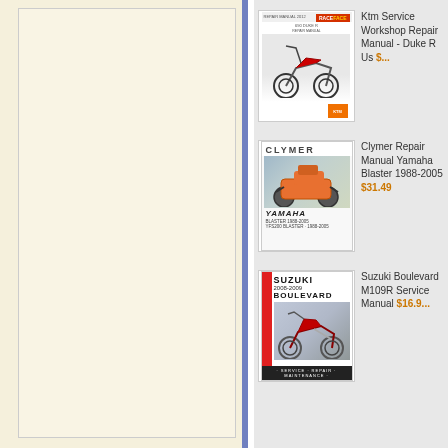[Figure (other): Left panel with beige/cream textured background]
[Figure (photo): KTM Service Workshop Repair Manual - Duke R book cover thumbnail]
Ktm Service Workshop Repair Manual - Duke R Us $...
[Figure (photo): Clymer Repair Manual Yamaha Blaster 1988-2005 book cover thumbnail]
Clymer Repair Manual Yamaha Blaster 1988-2005 $31.49
[Figure (photo): Suzuki Boulevard M109R Service Manual book cover thumbnail]
Suzuki Boulevard M109R Service Manual $16.9...